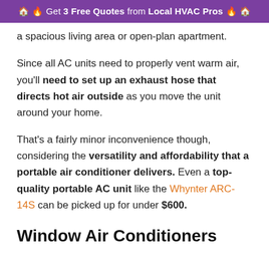🏠 🔥 Get 3 Free Quotes from Local HVAC Pros 🔥 🏠
a spacious living area or open-plan apartment.
Since all AC units need to properly vent warm air, you'll need to set up an exhaust hose that directs hot air outside as you move the unit around your home.
That's a fairly minor inconvenience though, considering the versatility and affordability that a portable air conditioner delivers. Even a top-quality portable AC unit like the Whynter ARC-14S can be picked up for under $600.
Window Air Conditioners